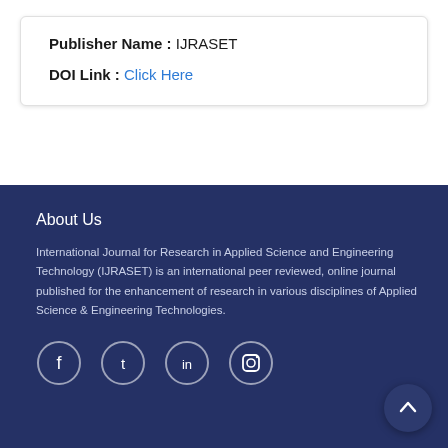Publisher Name : IJRASET
DOI Link : Click Here
About Us
International Journal for Research in Applied Science and Engineering Technology (IJRASET) is an international peer reviewed, online journal published for the enhancement of research in various disciplines of Applied Science & Engineering Technologies.
[Figure (illustration): Social media icons: Facebook, Twitter, LinkedIn, Instagram — white circle outlines on dark blue background]
[Figure (illustration): Scroll-to-top arrow button, dark navy circle with upward arrow, bottom right corner]